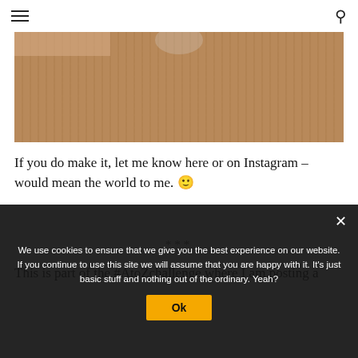≡  🔍
[Figure (photo): Close-up photo of a woven bamboo or rattan texture with warm brown tones, with a blurred human hand and glass visible at the top]
If you do make it, let me know here or on Instagram – would mean the world to me. 🙂
***
This is part of the #AtoZchallenge where I am posting a
We use cookies to ensure that we give you the best experience on our website. If you continue to use this site we will assume that you are happy with it. It's just basic stuff and nothing out of the ordinary. Yeah?
Ok